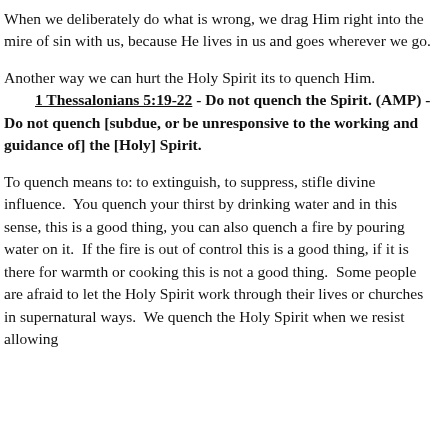When we deliberately do what is wrong, we drag Him right into the mire of sin with us, because He lives in us and goes wherever we go.
Another way we can hurt the Holy Spirit its to quench Him. 1 Thessalonians 5:19-22 - Do not quench the Spirit. (AMP) - Do not quench [subdue, or be unresponsive to the working and guidance of] the [Holy] Spirit.
To quench means to: to extinguish, to suppress, stifle divine influence.  You quench your thirst by drinking water and in this sense, this is a good thing, you can also quench a fire by pouring water on it.  If the fire is out of control this is a good thing, if it is there for warmth or cooking this is not a good thing.  Some people are afraid to let the Holy Spirit work through their lives or churches in supernatural ways.  We quench the Holy Spirit when we resist allowing